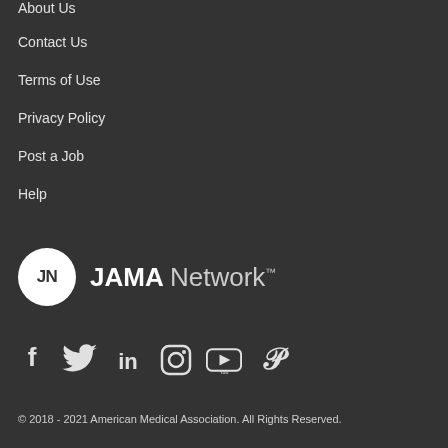About Us
Contact Us
Terms of Use
Privacy Policy
Post a Job
Help
[Figure (logo): JAMA Network logo with JN initials in white circle followed by JAMA Network text with trademark symbol]
[Figure (infographic): Social media icons: Facebook, Twitter, LinkedIn, Instagram, YouTube, Pinterest]
© 2018 - 2021 American Medical Association. All Rights Reserved.